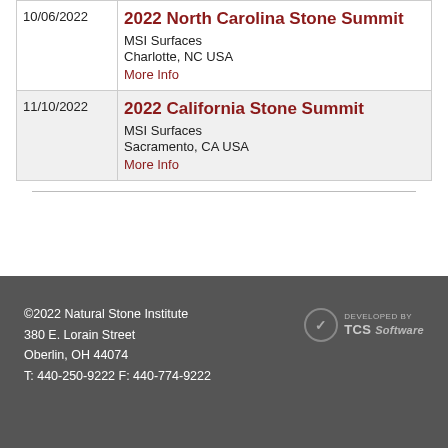| Date | Event |
| --- | --- |
| 10/06/2022 | 2022 North Carolina Stone Summit
MSI Surfaces
Charlotte, NC USA
More Info |
| 11/10/2022 | 2022 California Stone Summit
MSI Surfaces
Sacramento, CA USA
More Info |
©2022 Natural Stone Institute
380 E. Lorain Street
Oberlin, OH 44074
T: 440-250-9222 F: 440-774-9222